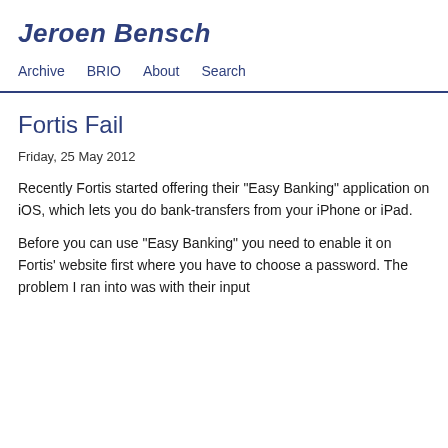Jeroen Bensch
Archive  BRIO  About  Search
Fortis Fail
Friday, 25 May 2012
Recently Fortis started offering their "Easy Banking" application on iOS, which lets you do bank-transfers from your iPhone or iPad.
Before you can use "Easy Banking" you need to enable it on Fortis' website first where you have to choose a password. The problem I ran into was with their input